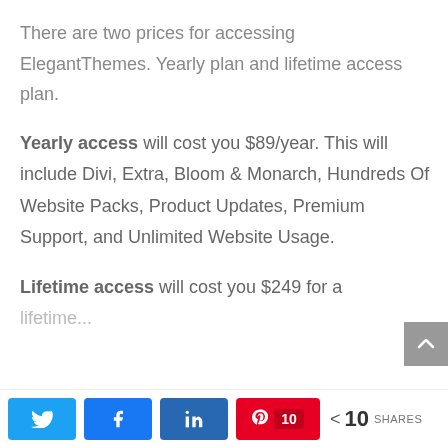There are two prices for accessing ElegantThemes. Yearly plan and lifetime access plan.
Yearly access will cost you $89/year. This will include Divi, Extra, Bloom & Monarch, Hundreds Of Website Packs, Product Updates, Premium Support, and Unlimited Website Usage.
Lifetime access will cost you $249 for a lifetime...